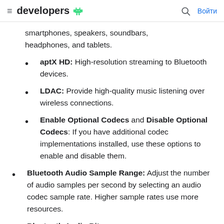≡ developers [android] 🔍 Войти
smartphones, speakers, soundbars, headphones, and tablets.
aptX HD: High-resolution streaming to Bluetooth devices.
LDAC: Provide high-quality music listening over wireless connections.
Enable Optional Codecs and Disable Optional Codecs: If you have additional codec implementations installed, use these options to enable and disable them.
Bluetooth Audio Sample Range: Adjust the number of audio samples per second by selecting an audio codec sample rate. Higher sample rates use more resources.
Bluetooth Audio Bit...